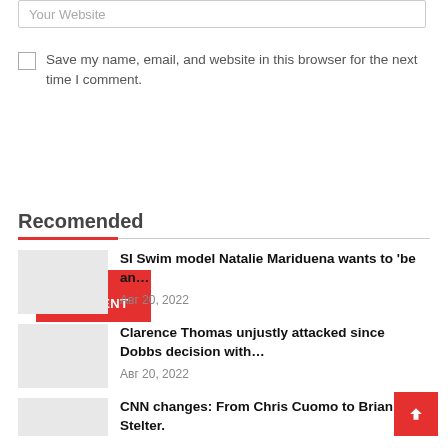Your Website
Save my name, email, and website in this browser for the next time I comment.
POST COMMENT
Recomended
SI Swim model Natalie Mariduena wants to 'be an…
Авг 20, 2022
Clarence Thomas unjustly attacked since Dobbs decision with…
Авг 20, 2022
CNN changes: From Chris Cuomo to Brian Stelter.